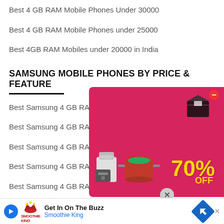Best 4 GB RAM Mobile Phones Under 30000
Best 4 GB RAM Mobile Phones under 25000
Best 4GB RAM Mobiles under 20000 in India
SAMSUNG MOBILE PHONES BY PRICE & FEATURE
Best Samsung 4 GB RAM Mobile Phones Under 15000
Best Samsung 4 GB RAM Mobile Phones Under 30000
Best Samsung 4 GB RAM Mobile Phones U[nder ...]
Best Samsung 4 GB RAM Mobile Phones U[nder ...]
Best Samsung 4 GB RAM Mobile Phones Under 40000
Best Sa[msung 4 GB RAM Mobile Phones Under ...]00
[Figure (illustration): Ad overlay showing kitchen appliances at 70% off, with a box icon and red minus button.]
[Figure (illustration): Bottom ad banner for Smoothie King: 'Get In On The Buzz' with navigation icon.]